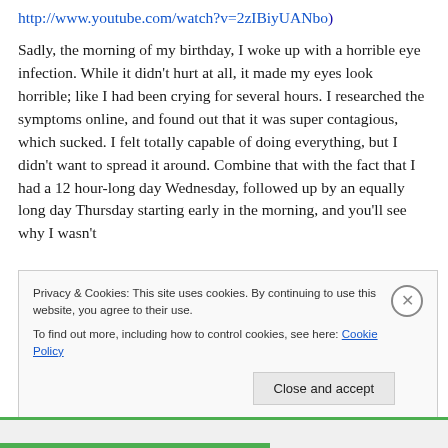http://www.youtube.com/watch?v=2zIBiyUANbo)
Sadly, the morning of my birthday, I woke up with a horrible eye infection. While it didn’t hurt at all, it made my eyes look horrible; like I had been crying for several hours. I researched the symptoms online, and found out that it was super contagious, which sucked. I felt totally capable of doing everything, but I didn’t want to spread it around. Combine that with the fact that I had a 12 hour-long day Wednesday, followed up by an equally long day Thursday starting early in the morning, and you’ll see why I wasn’t
Privacy & Cookies: This site uses cookies. By continuing to use this website, you agree to their use.
To find out more, including how to control cookies, see here: Cookie Policy
Close and accept